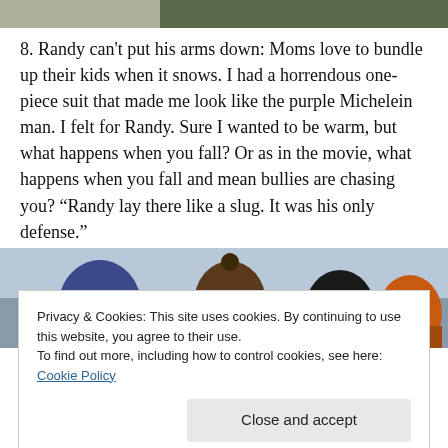[Figure (photo): Partial top strip of a photo, appears to show a person outdoors in winter clothing, cropped to just the bottom edge visible at top of page.]
8. Randy can't put his arms down: Moms love to bundle up their kids when it snows. I had a horrendous one-piece suit that made me look like the purple Michelein man. I felt for Randy. Sure I wanted to be warm, but what happens when you fall? Or as in the movie, what happens when you fall and mean bullies are chasing you? “Randy lay there like a slug. It was his only defense.”
[Figure (photo): Photo of children in winter hats and coats outdoors in snowy weather, appears to be a still from A Christmas Story movie.]
Privacy & Cookies: This site uses cookies. By continuing to use this website, you agree to their use.
To find out more, including how to control cookies, see here: Cookie Policy